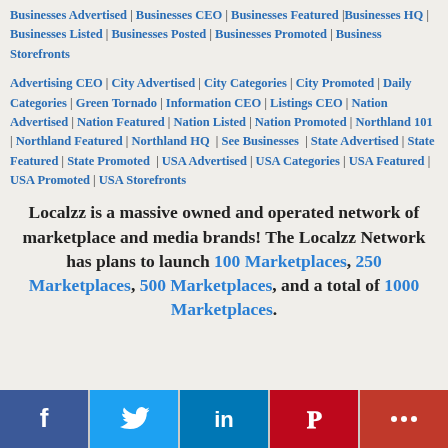Businesses Advertised | Businesses CEO | Businesses Featured | Businesses HQ | Businesses Listed | Businesses Posted | Businesses Promoted | Business Storefronts
Advertising CEO | City Advertised | City Categories | City Promoted | Daily Categories | Green Tornado | Information CEO | Listings CEO | Nation Advertised | Nation Featured | Nation Listed | Nation Promoted | Northland 101 | Northland Featured | Northland HQ | See Businesses | State Advertised | State Featured | State Promoted | USA Advertised | USA Categories | USA Featured | USA Promoted | USA Storefronts
Localzz is a massive owned and operated network of marketplace and media brands! The Localzz Network has plans to launch 100 Marketplaces, 250 Marketplaces, 500 Marketplaces, and a total of 1000 Marketplaces.
[Figure (other): Social sharing bar with Facebook, Twitter, LinkedIn, Pinterest, and More buttons]